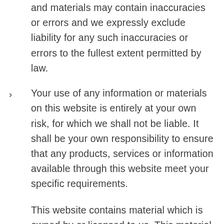and materials may contain inaccuracies or errors and we expressly exclude liability for any such inaccuracies or errors to the fullest extent permitted by law.
Your use of any information or materials on this website is entirely at your own risk, for which we shall not be liable. It shall be your own responsibility to ensure that any products, services or information available through this website meet your specific requirements.
This website contains material which is owned by or licensed to us. This material includes, but is not limited to, the design, layout, look, appearance and graphics. Reproduction is prohibited other than in